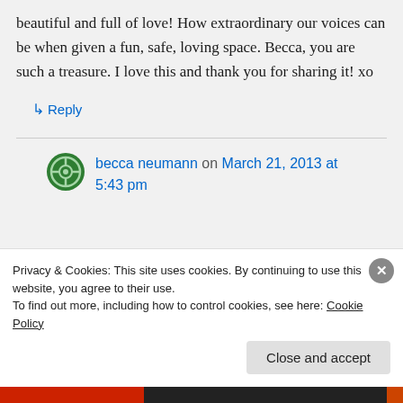beautiful and full of love! How extraordinary our voices can be when given a fun, safe, loving space. Becca, you are such a treasure. I love this and thank you for sharing it! xo
↳ Reply
becca neumann on March 21, 2013 at 5:43 pm
Privacy & Cookies: This site uses cookies. By continuing to use this website, you agree to their use. To find out more, including how to control cookies, see here: Cookie Policy